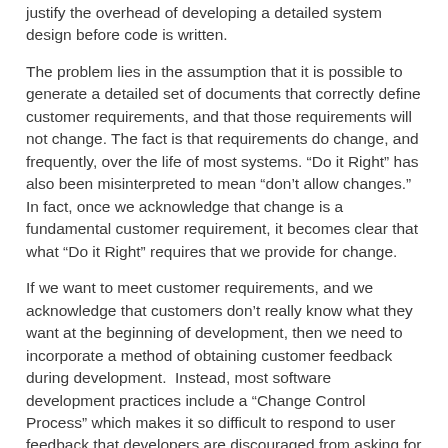justify the overhead of developing a detailed system design before code is written.
The problem lies in the assumption that it is possible to generate a detailed set of documents that correctly define customer requirements, and that those requirements will not change. The fact is that requirements do change, and frequently, over the life of most systems. “Do it Right” has also been misinterpreted to mean “don’t allow changes.” In fact, once we acknowledge that change is a fundamental customer requirement, it becomes clear that what “Do it Right” requires that we provide for change.
If we want to meet customer requirements, and we acknowledge that customers don’t really know what they want at the beginning of development, then we need to incorporate a method of obtaining customer feedback during development.  Instead, most software development practices include a “Change Control Process” which makes it so difficult to respond to user feedback that developers are discouraged from asking for it.  Far from insuring a quality result, these change-resistant practices actually get in the